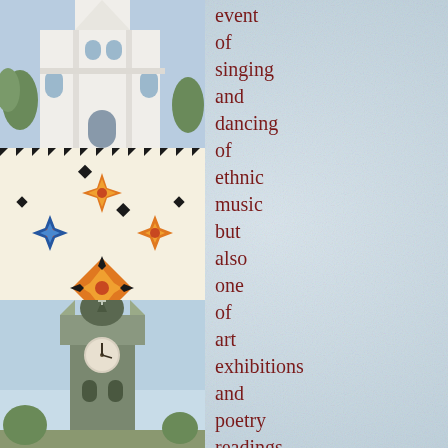[Figure (photo): White church building with steeple, partially cropped, against blue sky]
[Figure (photo): Colorful traditional Ukrainian/Eastern European embroidered textile with geometric floral patterns in orange, blue, green, red on cream background]
[Figure (photo): Church tower with ornate baroque steeple and clock, photographed from below against sky]
event
of
singing
and
dancing
of
ethnic
music
but
also
one
of
art
exhibitions
and
poetry
readings.
A
center
for
the
publication
of
textbooks
for